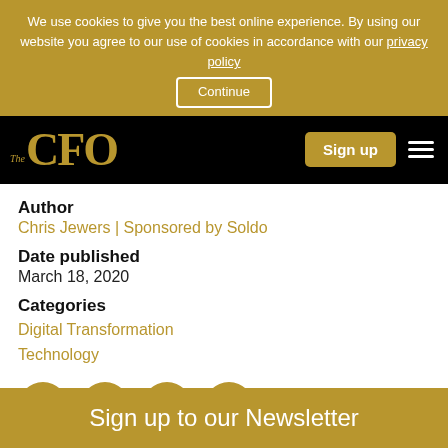We use cookies to give you the best online experience. By using our website you agree to our use of cookies in accordance with our privacy policy Continue
[Figure (logo): The CFO logo in gold on black background with Sign up button and hamburger menu]
Author
Chris Jewers | Sponsored by Soldo
Date published
March 18, 2020
Categories
Digital Transformation
Technology
[Figure (infographic): Four gold circular social sharing icons: Twitter, LinkedIn, Email, Print]
Sign up to our Newsletter